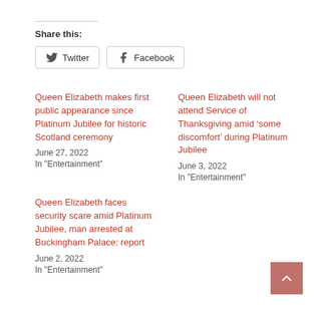Share this:
Twitter
Facebook
Queen Elizabeth makes first public appearance since Platinum Jubilee for historic Scotland ceremony
June 27, 2022
In "Entertainment"
Queen Elizabeth will not attend Service of Thanksgiving amid ‘some discomfort’ during Platinum Jubilee
June 3, 2022
In "Entertainment"
Queen Elizabeth faces security scare amid Platinum Jubilee, man arrested at Buckingham Palace: report
June 2, 2022
In "Entertainment"